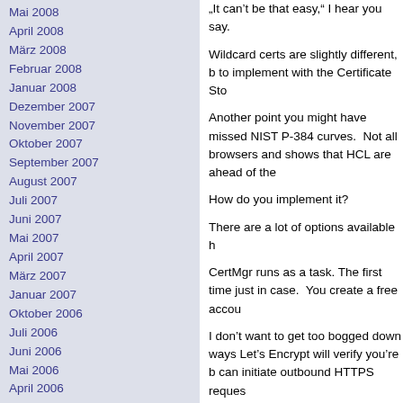Mai 2008
April 2008
März 2008
Februar 2008
Januar 2008
Dezember 2007
November 2007
Oktober 2007
September 2007
August 2007
Juli 2007
Juni 2007
Mai 2007
April 2007
März 2007
Januar 2007
Oktober 2006
Juli 2006
Juni 2006
Mai 2006
April 2006
März 2006
Februar 2006
Januar 2006
Dezember 2005
November 2005
Oktober 2005
August 2005
Juli 2005
Mai 2005
April 2005
September 2003
Juni 2000
Meta
Anmelden
„It can’t be that easy,“ I hear you say.
Wildcard certs are slightly different, b to implement with the Certificate Sto
Another point you might have missed NIST P-384 curves.  Not all browsers and shows that HCL are ahead of the
How do you implement it?
There are a lot of options available h
CertMgr runs as a task. The first time just in case.  You create a free accou
I don’t want to get too bogged down ways Let’s Encrypt will verify you’re b can initiate outbound HTTPS reques
The HTTP response in particular is V